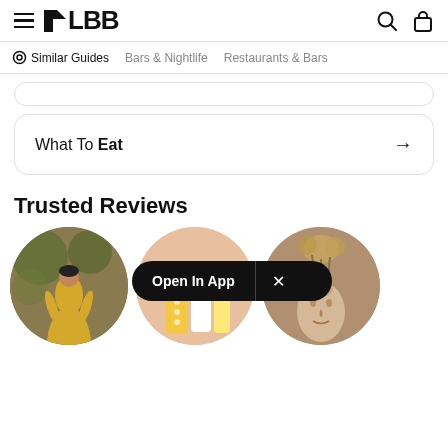LBB
Similar Guides   Bars & Nightlife   Restaurants & Bars
What To Eat →
Trusted Reviews
[Figure (photo): Three circular thumbnail images in a row: (1) woman in yellow dress among trees, (2) beauty/skincare products on peach background, (3) ceramic face vase on taupe background. An 'Open In App' pill overlay appears in the center.]
Open In App  ×